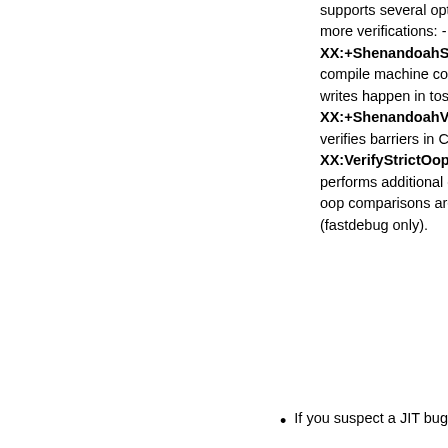supports several options that add even more verifications: - XX:+ShenandoahStoreCheck lets C2 compile machine code that checks that writes happen in tospace only. - XX:+ShenandoahVerifyOptoBarriers verifies barriers in C2's ideal graph. - XX:VerifyStrictOopOperations performs additional checks to verify that oop comparisons are done correctly (fastdebug only).
If you suspect a JIT bug (and there are